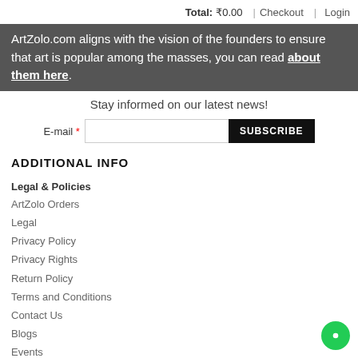Total: ₹0.00 | Checkout | Login
ArtZolo.com aligns with the vision of the founders to ensure that art is popular among the masses, you can read about them here.
Stay informed on our latest news!
ADDITIONAL INFO
Legal & Policies
ArtZolo Orders
Legal
Privacy Policy
Privacy Rights
Return Policy
Terms and Conditions
Contact Us
Blogs
Events
Our team